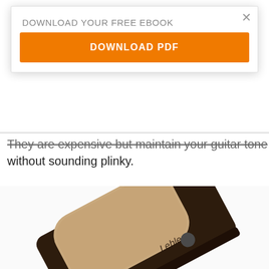They are expensive but maintain your guitar tone without sounding plinky.
[Figure (photo): Lehle volume pedal, dark brown body with tan/beige textured top surface and Lehle branding, photographed at an angle on white background]
DOWNLOAD YOUR FREE EBOOK
DOWNLOAD PDF